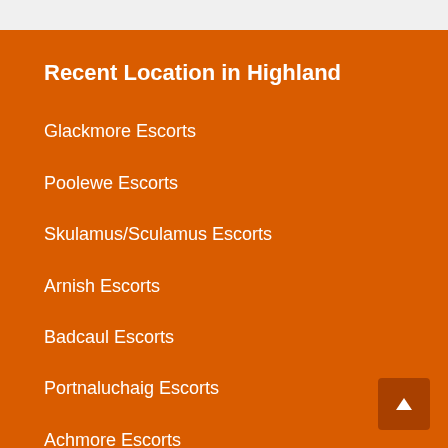Recent Location in Highland
Glackmore Escorts
Poolewe Escorts
Skulamus/Sculamus Escorts
Arnish Escorts
Badcaul Escorts
Portnaluchaig Escorts
Achmore Escorts